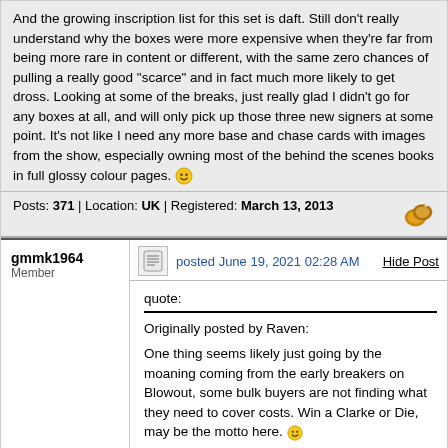And the growing inscription list for this set is daft. Still don't really understand why the boxes were more expensive when they're far from being more rare in content or different, with the same zero chances of pulling a really good "scarce" and in fact much more likely to get dross. Looking at some of the breaks, just really glad I didn't go for any boxes at all, and will only pick up those three new signers at some point. It's not like I need any more base and chase cards with images from the show, especially owning most of the behind the scenes books in full glossy colour pages. :)
Posts: 371 | Location: UK | Registered: March 13, 2013
gmmk1964
Member
posted June 19, 2021 02:28 AM
Hide Post
quote:
Originally posted by Raven:
One thing seems likely just going by the moaning coming from the early breakers on Blowout, some bulk buyers are not finding what they need to cover costs. Win a Clarke or Die, may be the motto here. :)